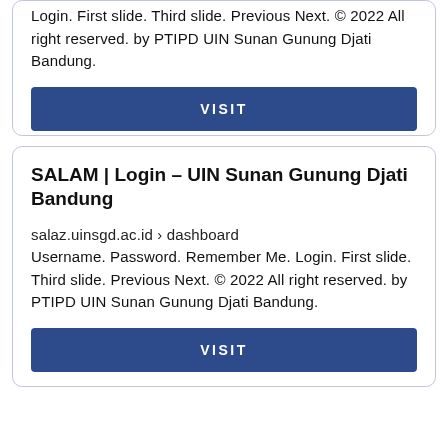Login. First slide. Third slide. Previous Next. © 2022 All right reserved. by PTIPD UIN Sunan Gunung Djati Bandung.
VISIT
SALAM | Login – UIN Sunan Gunung Djati Bandung
salaz.uinsgd.ac.id › dashboard
Username. Password. Remember Me. Login. First slide. Third slide. Previous Next. © 2022 All right reserved. by PTIPD UIN Sunan Gunung Djati Bandung.
VISIT